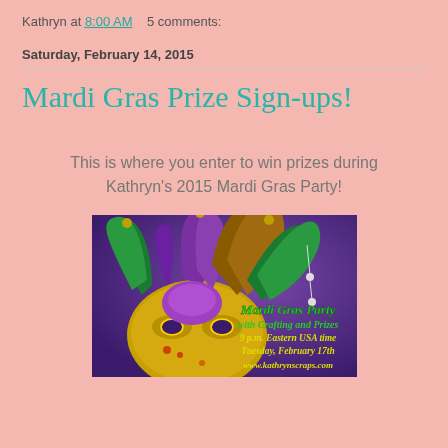Kathryn at 8:00 AM    5 comments:
Saturday, February 14, 2015
Mardi Gras Prize Sign-ups!
This is where you enter to win prizes during Kathryn's 2015 Mardi Gras Party!
[Figure (photo): Mardi Gras jester mask with green, gold, and purple feathers on purple background. Text overlay reads: Mardi Gras Party with Crafting and Prizes 9 p.m. Eastern USA time Tuesday, February 17th www.kathrynscraps.com]